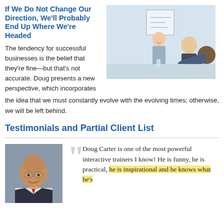If We Do Not Change Our Direction, We'll Probably End Up Where We're Headed
[Figure (photo): Business presentation scene: woman presenting at whiteboard to seated colleagues]
The tendency for successful businesses is the belief that they're fine—but that's not accurate. Doug presents a new perspective, which incorporates the idea that we must constantly evolve with the evolving times; otherwise, we will be left behind.
Testimonials and Partial Client List
[Figure (photo): Headshot of a smiling older bald man with glasses wearing a suit]
Doug Carter is one of the most powerful interactive trainers I know! He is funny, he is practical, he is inspirational and he knows what he's